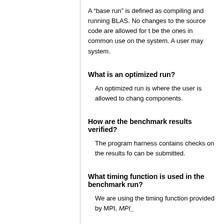A “base run” is defined as compiling and running BLAS. No changes to the source code are allowed for the be the ones in common use on the system. A user may system.
What is an optimized run?
An optimized run is where the user is allowed to change components.
How are the benchmark results verified?
The program harness contains checks on the results for can be submitted.
What timing function is used in the benchmark run?
We are using the timing function provided by MPI, MPI_